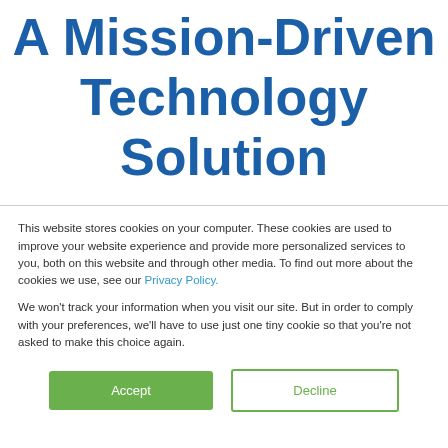A Mission-Driven Technology Solution
This website stores cookies on your computer. These cookies are used to improve your website experience and provide more personalized services to you, both on this website and through other media. To find out more about the cookies we use, see our Privacy Policy.
We won't track your information when you visit our site. But in order to comply with your preferences, we'll have to use just one tiny cookie so that you're not asked to make this choice again.
Accept | Decline